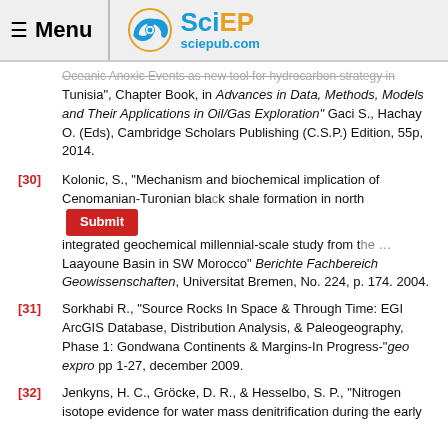Menu | SciEP sciepub.com
Oceanic Anoxic Events as new tool for hydrocarbon strategy in Tunisia", Chapter Book, in Advances in Data, Methods, Models and Their Applications in Oil/Gas Exploration" Gaci S., Hachay O. (Eds), Cambridge Scholars Publishing (C.S.P.) Edition, 55p, 2014.
[30] Kolonic, S., "Mechanism and biochemical implication of Cenomanian-Turonian black shale formation in north Africa- integrated geochemical millennial-scale study from the … Laayoune Basin in SW Morocco" Berichte Fachbereich Geowissenschaften, Universitat Bremen, No. 224, p. 174. 2004.
[31] Sorkhabi R., "Source Rocks In Space & Through Time: EGI ArcGIS Database, Distribution Analysis, & Paleogeography, Phase 1: Gondwana Continents & Margins-In Progress-"geo expro pp 1-27, december 2009.
[32] Jenkyns, H. C., Gröcke, D. R., & Hesselbo, S. P., "Nitrogen isotope evidence for water mass denitrification during the early